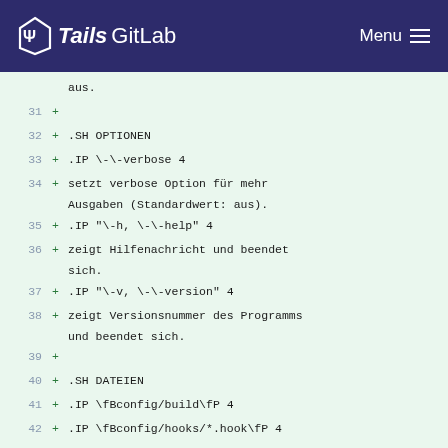Tails GitLab  Menu
aus.
31 +
32 + .SH OPTIONEN
33 + .IP \-\-verbose 4
34 + setzt verbose Option für mehr Ausgaben (Standardwert: aus).
35 + .IP "\-h, \-\-help" 4
36 + zeigt Hilfenachricht und beendet sich.
37 + .IP "\-v, \-\-version" 4
38 + zeigt Versionsnummer des Programms und beendet sich.
39 +
40 + .SH DATEIEN
41 + .IP \fBconfig/build\fP 4
42 + .IP \fBconfig/hooks/*.hook\fP 4
43 + .IP \fBconfig/hooks/*.hook.binary\fP 4
44 + .IP \fBbinary\fP 4
45 +